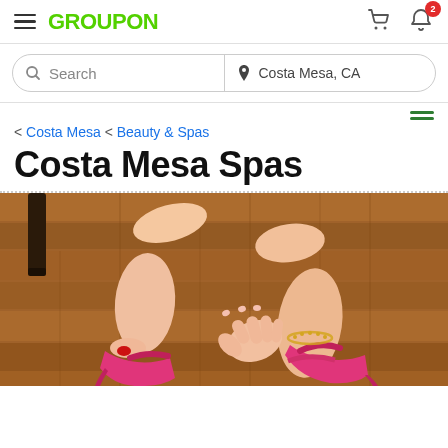GROUPON
Search | Costa Mesa, CA
< Costa Mesa < Beauty & Spas
Costa Mesa Spas
[Figure (photo): Hands buckling a pink high-heel sandal on a foot with red toenails and a gold anklet bracelet, on a wooden floor background]